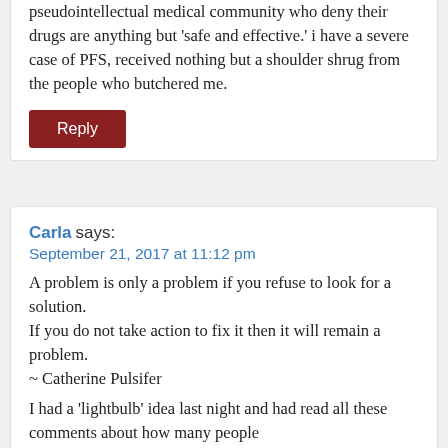pseudointellectual medical community who deny their drugs are anything but 'safe and effective.' i have a severe case of PFS, received nothing but a shoulder shrug from the people who butchered me.
Reply
Carla says:
September 21, 2017 at 11:12 pm
A problem is only a problem if you refuse to look for a solution.
If you do not take action to fix it then it will remain a problem.
~ Catherine Pulsifer
I had a 'lightbulb' idea last night and had read all these comments about how many people are suffering and how they have not had any t...